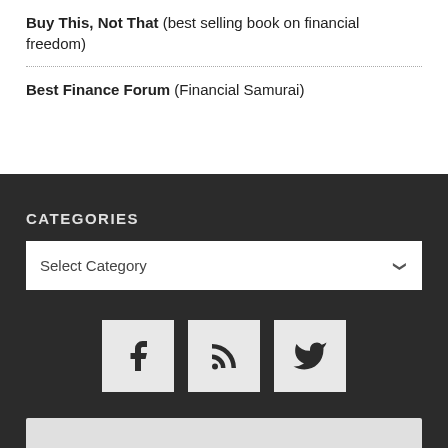Buy This, Not That (best selling book on financial freedom)
Best Finance Forum (Financial Samurai)
CATEGORIES
Select Category
[Figure (other): Social media icons: Facebook, RSS feed, Twitter]